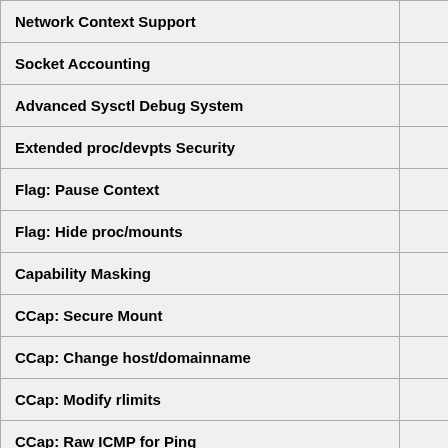| Feature |  |
| --- | --- |
| Network Context Support | - |
| Socket Accounting | - |
| Advanced Sysctl Debug System | - |
| Extended proc/devpts Security | - |
| Flag: Pause Context | - |
| Flag: Hide proc/mounts | - |
| Capability Masking | - |
| CCap: Secure Mount | - |
| CCap: Change host/domainname | - |
| CCap: Modify rlimits | - |
| CCap: Raw ICMP for Ping | - |
| Bind Mount Extensions | - |
| Copy on Write Link Breaking | - |
| Quota Hashes | - |